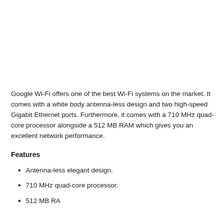Google Wi-Fi offers one of the best Wi-Fi systems on the market. It comes with a white body antenna-less design and two high-speed Gigabit Ethernet ports. Furthermore, it comes with a 710 MHz quad-core processor alongside a 512 MB RAM which gives you an excellent network performance.
Features
Antenna-less elegant design.
710 MHz quad-core processor.
512 MB RAM